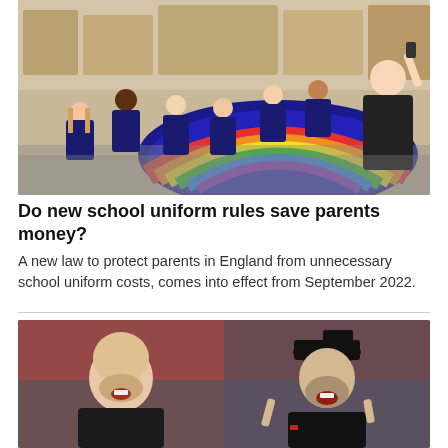[Figure (photo): Children in school uniforms sitting on a rainbow-coloured carpet in a classroom, facing a teacher who is holding up a phone. Classroom shelves and materials visible in background.]
Do new school uniform rules save parents money?
A new law to protect parents in England from unnecessary school uniform costs, comes into effect from September 2022.
[Figure (photo): Two football managers shouting on the sideline — a bald man on the left and a bearded man wearing a black cap on the right.]